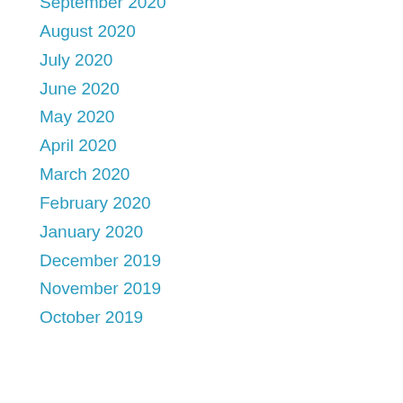September 2020
August 2020
July 2020
June 2020
May 2020
April 2020
March 2020
February 2020
January 2020
December 2019
November 2019
October 2019